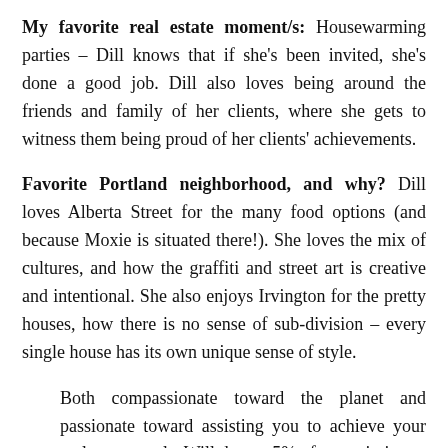My favorite real estate moment/s: Housewarming parties – Dill knows that if she's been invited, she's done a good job. Dill also loves being around the friends and family of her clients, where she gets to witness them being proud of her clients' achievements.
Favorite Portland neighborhood, and why? Dill loves Alberta Street for the many food options (and because Moxie is situated there!). She loves the mix of cultures, and how the graffiti and street art is creative and intentional. She also enjoys Irvington for the pretty houses, how there is no sense of sub-division – every single house has its own unique sense of style.
Both compassionate toward the planet and passionate toward assisting you to achieve your real estate goals. Will donate 5% of commission to a non-profit of your choice. Also providing foreclosure and short sale assistance to those in need. Free consultation King…